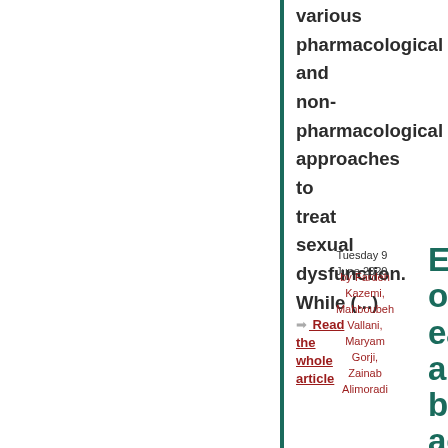various pharmacological and non-pharmacological approaches to treat sexual dysfunction. While (...)
➡ Read the whole article
Tuesday 9 June 2020
by Fardeh Kazemi, Mahboubeh Vallani, Maryam Gorji, Zainab Alimoradi
Effects of ear and body acupressure on labor pain and duration